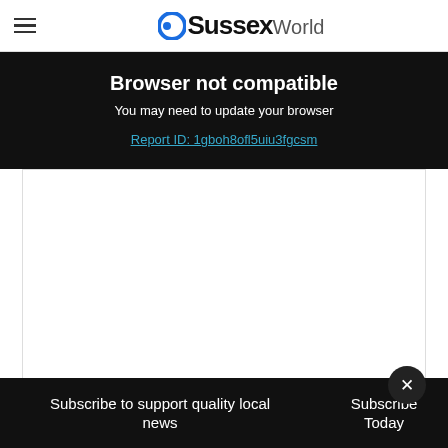OSussexWorld
Browser not compatible
You may need to update your browser
Report ID: 1gboh8ofl5uiu3fgcsm
[Figure (other): White content area placeholder box]
Subscribe to support quality local news
Subscribe Today